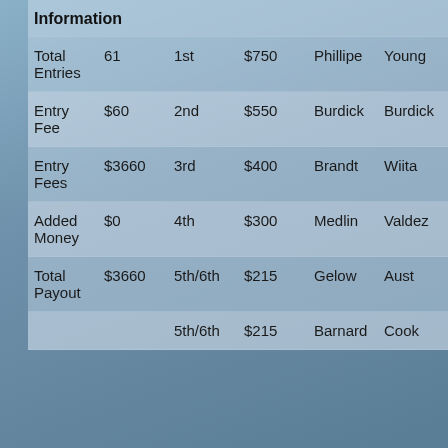|  |  |  |  |  |  |
| --- | --- | --- | --- | --- | --- |
| Information |  |  |  |  |  |
| Total Entries | 61 | 1st | $750 | Phillipe | Young |
| Entry Fee | $60 | 2nd | $550 | Burdick | Burdick |
| Entry Fees | $3660 | 3rd | $400 | Brandt | Wiita |
| Added Money | $0 | 4th | $300 | Medlin | Valdez |
| Total Payout | $3660 | 5th/6th | $215 | Gelow | Aust |
|  |  | 5th/6th | $215 | Barnard | Cook |